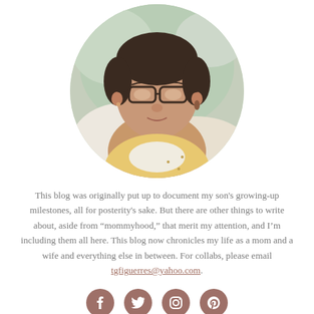[Figure (photo): Circular profile photo of a woman wearing glasses, in a light yellow top, with a blurred green background]
This blog was originally put up to document my son's growing-up milestones, all for posterity's sake. But there are other things to write about, aside from “mommyhood,” that merit my attention, and I’m including them all here. This blog now chronicles my life as a mom and a wife and everything else in between. For collabs, please email tgfiguerres@yahoo.com.
[Figure (infographic): Four circular social media icons: Facebook, Twitter, Instagram, Pinterest — colored in muted rose/brown]